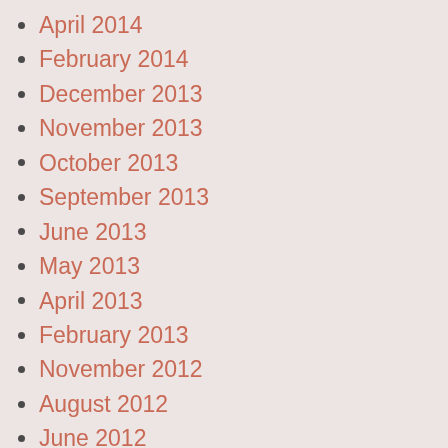April 2014
February 2014
December 2013
November 2013
October 2013
September 2013
June 2013
May 2013
April 2013
February 2013
November 2012
August 2012
June 2012
April 2012
March 2012